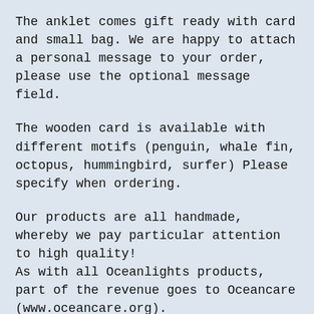The anklet comes gift ready with card and small bag. We are happy to attach a personal message to your order, please use the optional message field.
The wooden card is available with different motifs (penguin, whale fin, octopus, hummingbird, surfer) Please specify when ordering.
Our products are all handmade, whereby we pay particular attention to high quality!
As with all Oceanlights products, part of the revenue goes to Oceancare (www.oceancare.org).
IMPORTANT SHIPPING NOTICE: The estimated delivery times etsy provides are estimates only and are not guaranteed. Delays can and will unfortunately occur.
SPAIN: 2-4 days from the date of shipment. Orders are sent with Correos service...